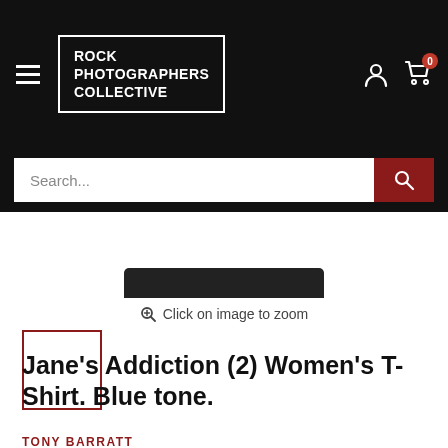Rock Photographers Collective
[Figure (screenshot): Search bar with dark background, text input reading 'Search...' and dark red search button with magnifier icon]
[Figure (photo): Partial product image — black item visible at the top, mostly cropped]
Click on image to zoom
[Figure (photo): Small thumbnail image box with dark red border, white/empty interior]
Jane's Addiction (2) Women's T-Shirt. Blue tone.
TONY BARRATT